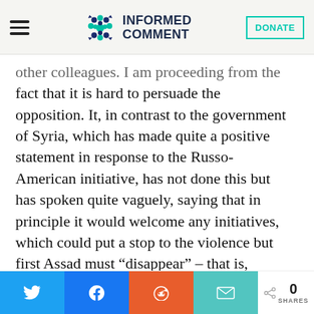INFORMED COMMENT
other colleagues. I am proceeding from the fact that it is hard to persuade the opposition. It, in contrast to the government of Syria, which has made quite a positive statement in response to the Russo-American initiative, has not done this but has spoken quite vaguely, saying that in principle it would welcome any initiatives, which could put a stop to the violence but first Assad must “disappear” – that is, approaches have once again been set out,